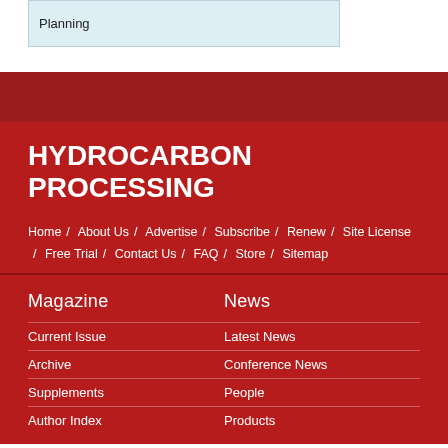Planning
HYDROCARBON PROCESSING
Home / About Us / Advertise / Subscribe / Renew / Site License / Free Trial / Contact Us / FAQ / Store / Sitemap
Magazine
Current Issue
Archive
Supplements
Author Index
News
Latest News
Conference News
People
Products